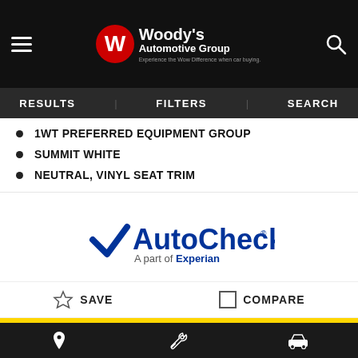Woody's Automotive Group — Experience the Wow Difference when car buying.
RESULTS   FILTERS   SEARCH
1WT PREFERRED EQUIPMENT GROUP
SUMMIT WHITE
NEUTRAL, VINYL SEAT TRIM
[Figure (logo): AutoCheck – A part of Experian logo]
☆ SAVE   □ COMPARE
[Figure (photo): 5 Star Rated Dealer banner with gold stars and dealer photo showing Woodys.com signage, 2020 Dealer of the Year award, and a dark SUV in a garage]
Location, Wrench, Car icons navigation bar